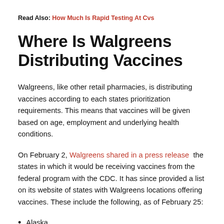Read Also: How Much Is Rapid Testing At Cvs
Where Is Walgreens Distributing Vaccines
Walgreens, like other retail pharmacies, is distributing vaccines according to each states prioritization requirements. This means that vaccines will be given based on age, employment and underlying health conditions.
On February 2, Walgreens shared in a press release the states in which it would be receiving vaccines from the federal program with the CDC. It has since provided a list on its website of states with Walgreens locations offering vaccines. These include the following, as of February 25:
Alaska